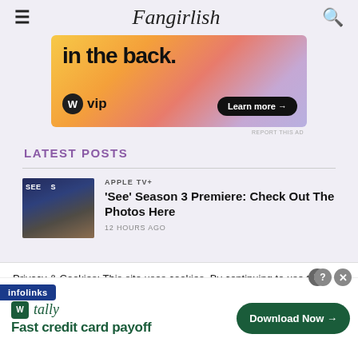Fangirlish
[Figure (other): Advertisement banner for WordPress VIP showing text 'in the back.' with orange/pink gradient background, WordPress logo, 'vip' text, and 'Learn more →' button]
REPORT THIS AD
LATEST POSTS
[Figure (photo): Thumbnail photo of group of people at Apple TV+ See Season 3 Premiere event]
APPLE TV+
'See' Season 3 Premiere: Check Out The Photos Here
12 HOURS AGO
Privacy & Cookies: This site uses cookies. By continuing to use this you agree to their use.
[Figure (other): Tally advertisement banner with green logo, 'Fast credit card payoff' tagline, and 'Download Now →' button]